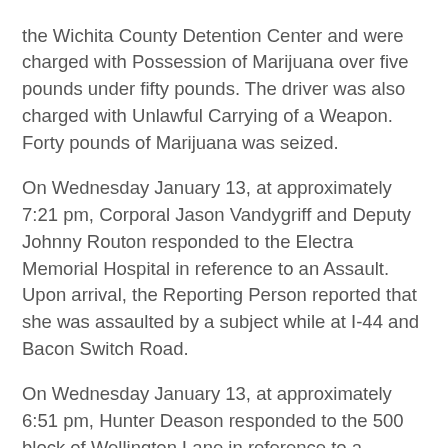the Wichita County Detention Center and were charged with Possession of Marijuana over five pounds under fifty pounds.  The driver was also charged with Unlawful Carrying of a Weapon.  Forty pounds of Marijuana was seized.
On Wednesday January 13, at approximately 7:21 pm, Corporal Jason Vandygriff and Deputy Johnny Routon responded to the Electra Memorial Hospital in reference to an Assault.  Upon arrival, the Reporting Person reported that she was assaulted by a subject while at I-44 and Bacon Switch Road.
On Wednesday January 13, at approximately 6:51 pm, Hunter Deason responded to the 500 block of Wellington Lane in reference to a Disturbance.  Upon arrival, the Reporting Person reported that there was a disturbance caused by a juvenile prior to Deputies arrival.  The Reporting Person also